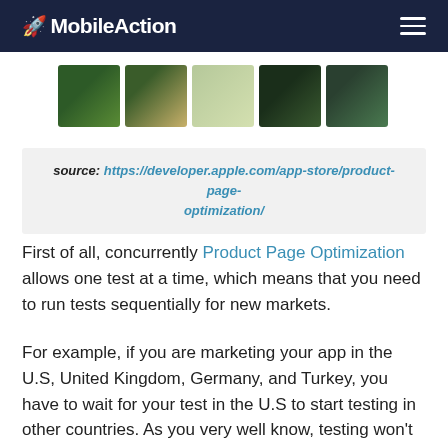MobileAction
[Figure (screenshot): Row of five app screenshot thumbnails showing nature/map scenes]
source: https://developer.apple.com/app-store/product-page-optimization/
First of all, concurrently Product Page Optimization allows one test at a time, which means that you need to run tests sequentially for new markets.
For example, if you are marketing your app in the U.S, United Kingdom, Germany, and Turkey, you have to wait for your test in the U.S to start testing in other countries. As you very well know, testing won’t get you desired results in the first attempt, meaning that testing for several markets will take